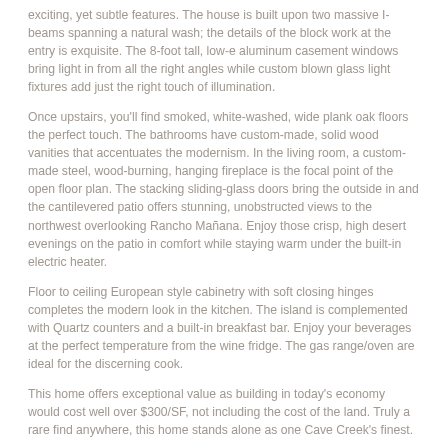exciting, yet subtle features. The house is built upon two massive I-beams spanning a natural wash; the details of the block work at the entry is exquisite. The 8-foot tall, low-e aluminum casement windows bring light in from all the right angles while custom blown glass light fixtures add just the right touch of illumination.
Once upstairs, you'll find smoked, white-washed, wide plank oak floors the perfect touch. The bathrooms have custom-made, solid wood vanities that accentuates the modernism. In the living room, a custom-made steel, wood-burning, hanging fireplace is the focal point of the open floor plan. The stacking sliding-glass doors bring the outside in and the cantilevered patio offers stunning, unobstructed views to the northwest overlooking Rancho Mañana. Enjoy those crisp, high desert evenings on the patio in comfort while staying warm under the built-in electric heater.
Floor to ceiling European style cabinetry with soft closing hinges completes the modern look in the kitchen. The island is complemented with Quartz counters and a built-in breakfast bar. Enjoy your beverages at the perfect temperature from the wine fridge. The gas range/oven are ideal for the discerning cook.
This home offers exceptional value as building in today's economy would cost well over $300/SF, not including the cost of the land. Truly a rare find anywhere, this home stands alone as one Cave Creek's finest.